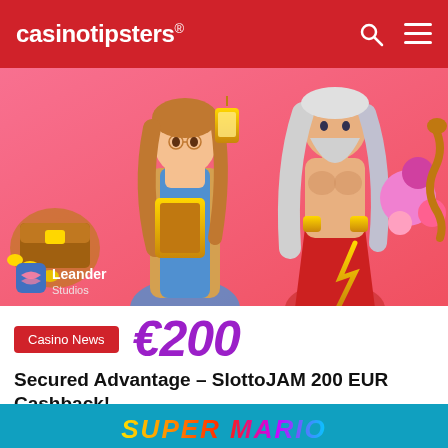casinotipsters®
[Figure (illustration): Promotional banner for SlottoJAM casino featuring two illustrated characters — a female explorer holding a lantern and a golden book/tablet, and a muscular Zeus-like figure holding a lightning bolt — on a pink background. The Leander Studios logo is visible in the bottom left corner.]
€200
Casino News
Secured Advantage – SlottoJAM 200 EUR Cashback!
4 weeks ago
0
435
[Figure (illustration): Bottom banner partially visible showing colorful Super Mario-style text on a teal/blue background]